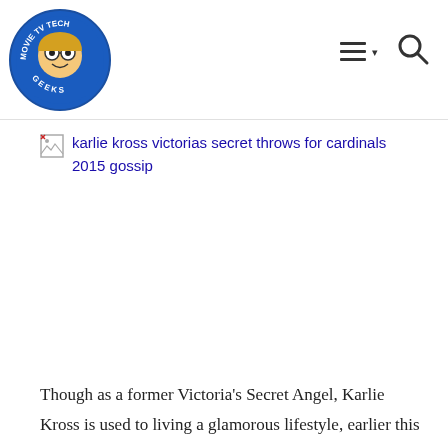Movie TV Tech Geeks [logo] [navigation icons]
[Figure (illustration): Broken image placeholder with alt text: karlie kross victorias secret throws for cardinals 2015 gossip]
Though as a former Victoria’s Secret Angel, Karlie Kross is used to living a glamorous lifestyle, earlier this week she donned a St. Louis